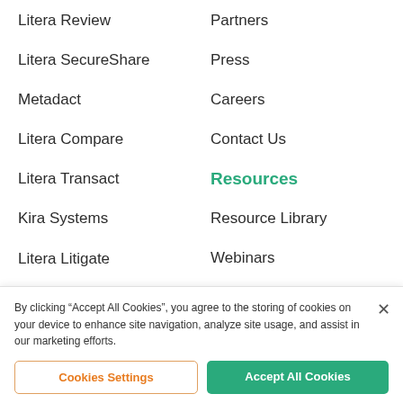Litera Review
Litera SecureShare
Metadact
Litera Compare
Litera Transact
Kira Systems
Litera Litigate
Foundation Firm Intelligence
Partners
Press
Careers
Contact Us
Resources
Resource Library
Webinars
Podcasts
By clicking “Accept All Cookies”, you agree to the storing of cookies on your device to enhance site navigation, analyze site usage, and assist in our marketing efforts.
Cookies Settings
Accept All Cookies